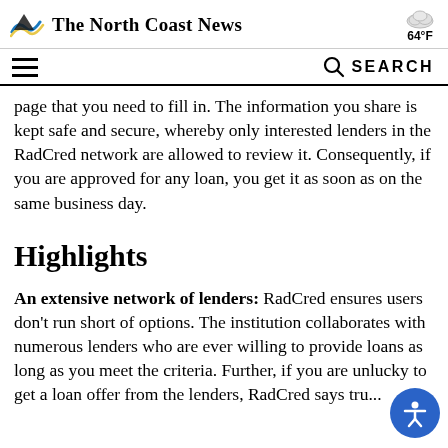The North Coast News | 64°F
page that you need to fill in. The information you share is kept safe and secure, whereby only interested lenders in the RadCred network are allowed to review it. Consequently, if you are approved for any loan, you get it as soon as on the same business day.
Highlights
An extensive network of lenders: RadCred ensures users don't run short of options. The institution collaborates with numerous lenders who are ever willing to provide loans as long as you meet the criteria. Further, if you are unlucky to get a loan offer from the lenders, RadCred says true to its...